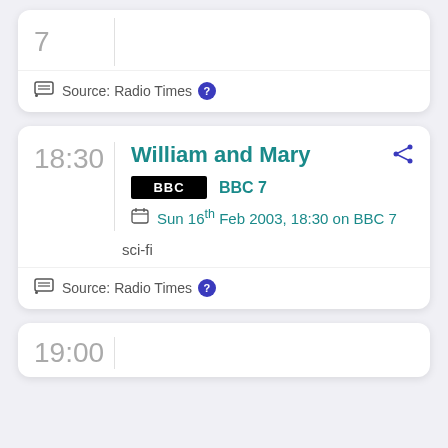7
Source: Radio Times
18:30 William and Mary
BBC 7
Sun 16th Feb 2003, 18:30 on BBC 7
sci-fi
Source: Radio Times
19:00